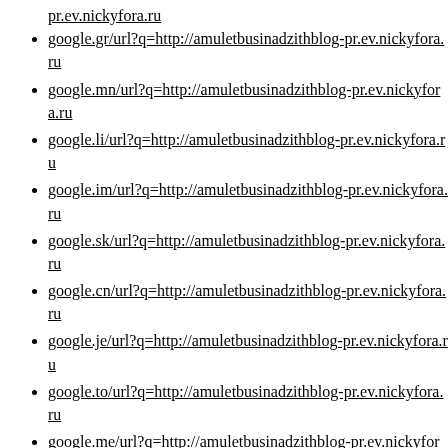pr.ev.nickyfora.ru (continuation)
google.gr/url?q=http://amuletbusinadzithblog-pr.ev.nickyfora.ru
google.mn/url?q=http://amuletbusinadzithblog-pr.ev.nickyfora.ru
google.li/url?q=http://amuletbusinadzithblog-pr.ev.nickyfora.ru
google.im/url?q=http://amuletbusinadzithblog-pr.ev.nickyfora.ru
google.sk/url?q=http://amuletbusinadzithblog-pr.ev.nickyfora.ru
google.cn/url?q=http://amuletbusinadzithblog-pr.ev.nickyfora.ru
google.je/url?q=http://amuletbusinadzithblog-pr.ev.nickyfora.ru
google.to/url?q=http://amuletbusinadzithblog-pr.ev.nickyfora.ru
google.me/url?q=http://amuletbusinadzithblog-pr.ev.nickyfora.ru (partial)